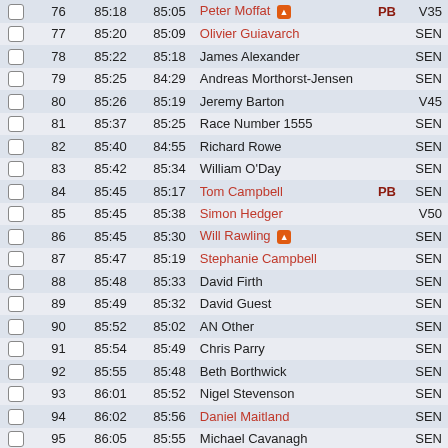|  | Pos | Time | PB Time | Name | PB | Category |
| --- | --- | --- | --- | --- | --- | --- |
|  | 76 | 85:18 | 85:05 | Peter Moffat 🔥 | PB | V35 |
|  | 77 | 85:20 | 85:09 | Olivier Guiavarch |  | SEN |
|  | 78 | 85:22 | 85:18 | James Alexander |  | SEN |
|  | 79 | 85:25 | 84:29 | Andreas Morthorst-Jensen |  | SEN |
|  | 80 | 85:26 | 85:19 | Jeremy Barton |  | V45 |
|  | 81 | 85:37 | 85:25 | Race Number 1555 |  | SEN |
|  | 82 | 85:40 | 84:55 | Richard Rowe |  | SEN |
|  | 83 | 85:42 | 85:34 | William O'Day |  | SEN |
|  | 84 | 85:45 | 85:17 | Tom Campbell | PB | SEN |
|  | 85 | 85:45 | 85:38 | Simon Hedger |  | V50 |
|  | 86 | 85:45 | 85:30 | Will Rawling 🔥 |  | SEN |
|  | 87 | 85:47 | 85:19 | Stephanie Campbell |  | SEN |
|  | 88 | 85:48 | 85:33 | David Firth |  | SEN |
|  | 89 | 85:49 | 85:32 | David Guest |  | SEN |
|  | 90 | 85:52 | 85:02 | AN Other |  | SEN |
|  | 91 | 85:54 | 85:49 | Chris Parry |  | SEN |
|  | 92 | 85:55 | 85:48 | Beth Borthwick |  | SEN |
|  | 93 | 86:01 | 85:52 | Nigel Stevenson |  | SEN |
|  | 94 | 86:02 | 85:56 | Daniel Maitland |  | SEN |
|  | 95 | 86:05 | 85:55 | Michael Cavanagh |  | SEN |